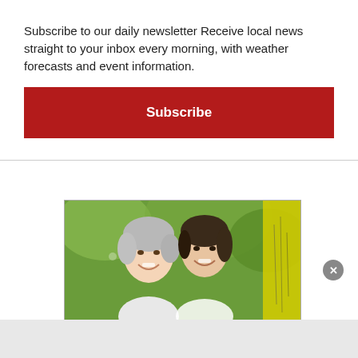Subscribe to our daily newsletter Receive local news straight to your inbox every morning, with weather forecasts and event information.
Subscribe
[Figure (photo): Two women smiling together outdoors with green foliage background and yellow accent on right side. An advertisement image.]